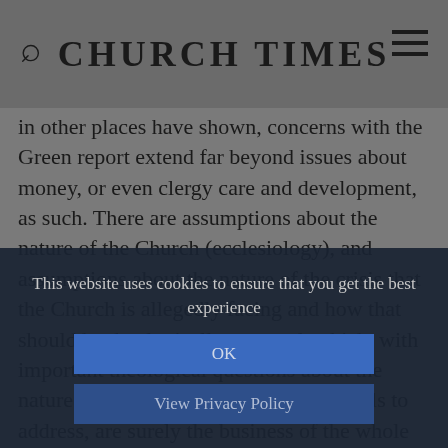CHURCH TIMES
in other places have shown, concerns with the Green report extend far beyond issues about money, or even clergy care and development, as such. There are assumptions about the nature of the Church (ecclesiology), and assumptions about the nature of the crisis that the Church is allegedly facing and how that should be theologically assessed, which, with important theological questions about the nature of leadership which the report fails to address, are surely the business of the whole people of God, and thus entirely suitable for the Synod to discuss.
This website uses cookies to ensure that you get the best experience
OK
View Privacy Policy